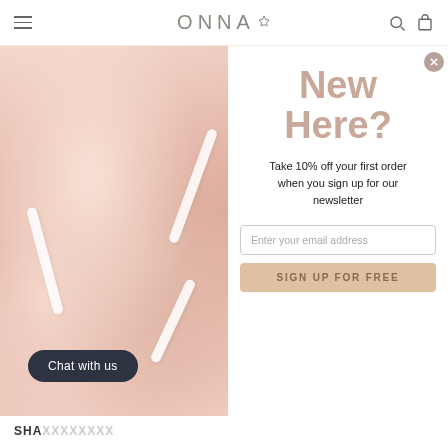ONNA
[Figure (photo): Close-up of feminine hands holding white curved beauty tool objects against pink/peach draped fabric background]
Chat with us
SHA...
New Here?
Take 10% off your first order when you sign up for our newsletter
Enter your email address
SIGN UP FOR FREE